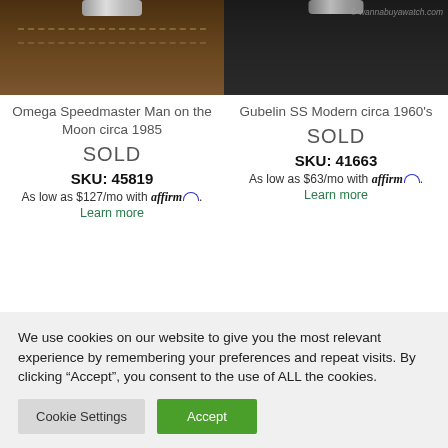[Figure (photo): Omega Speedmaster watch strap - brown leather, top portion visible with silver hardware]
[Figure (photo): Gubelin SS watch - black strap, top portion visible with copyright watermark for wannabuyawatch.com]
Omega Speedmaster Man on the Moon circa 1985
SOLD
SKU: 45819
As low as $127/mo with affirm. Learn more
Gubelin SS Modern circa 1960's
SOLD
SKU: 41663
As low as $63/mo with affirm. Learn more
We use cookies on our website to give you the most relevant experience by remembering your preferences and repeat visits. By clicking “Accept”, you consent to the use of ALL the cookies.